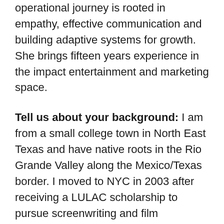operational journey is rooted in empathy, effective communication and building adaptive systems for growth. She brings fifteen years experience in the impact entertainment and marketing space.
Tell us about your background: I am from a small college town in North East Texas and have native roots in the Rio Grande Valley along the Mexico/Texas border. I moved to NYC in 2003 after receiving a LULAC scholarship to pursue screenwriting and film production and had the opportunity to produce my first feature documentary while still in college at the Pratt Institute in 2007 - the award winning film, A Walk into the Sea: Danny Williams and the Warhol